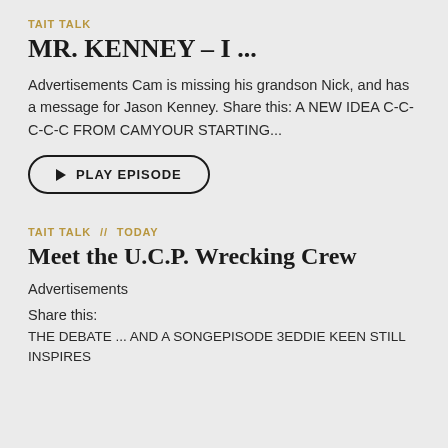TAIT TALK
MR. KENNEY – I ...
Advertisements Cam is missing his grandson Nick, and has a message for Jason Kenney. Share this: A NEW IDEA C-C-C-C-C FROM CAMYOUR STARTING...
[Figure (other): Play Episode button with triangle play icon and rounded border]
TAIT TALK // TODAY
Meet the U.C.P. Wrecking Crew
Advertisements
Share this:
THE DEBATE ... AND A SONGEPISODE 3EDDIE KEEN STILL INSPIRES